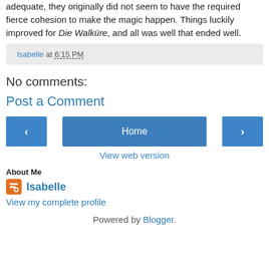adequate, they originally did not seem to have the required fierce cohesion to make the magic happen. Things luckily improved for Die Walküre, and all was well that ended well.
Isabelle at 6:15 PM
No comments:
Post a Comment
‹ Home ›
View web version
About Me
Isabelle
View my complete profile
Powered by Blogger.